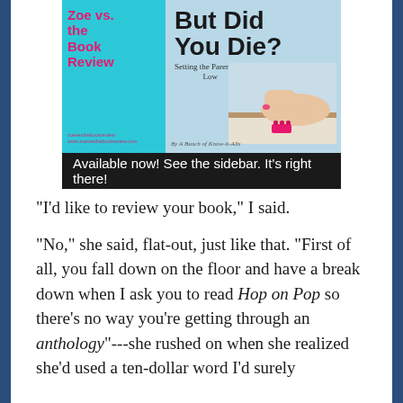[Figure (photo): Book cover composite image showing 'Zoe vs. the Book Review' blog title on cyan background on the left, and 'But Did You Die? Setting the Parenting Bar Low' book cover on the right with a foot about to step on a pink LEGO piece, with a dark banner below reading 'Available now! See the sidebar. It's right there!']
"I'd like to review your book," I said.
"No," she said, flat-out, just like that. "First of all, you fall down on the floor and have a break down when I ask you to read Hop on Pop so there's no way you're getting through an anthology"---she rushed on when she realized she'd used a ten-dollar word I'd surely